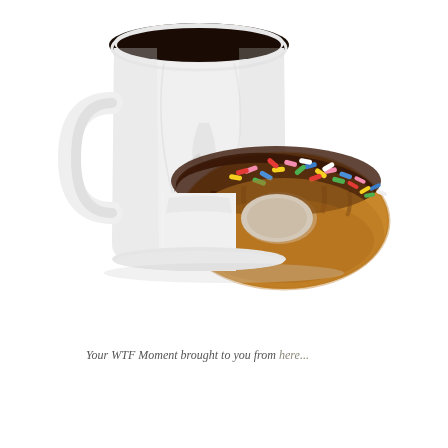[Figure (photo): A white ceramic coffee mug shaped like a human face with a mouth, holding a chocolate glazed donut with colorful sprinkles in its mouth. The mug contains dark coffee at the top. The background is white.]
Your WTF Moment brought to you from here...